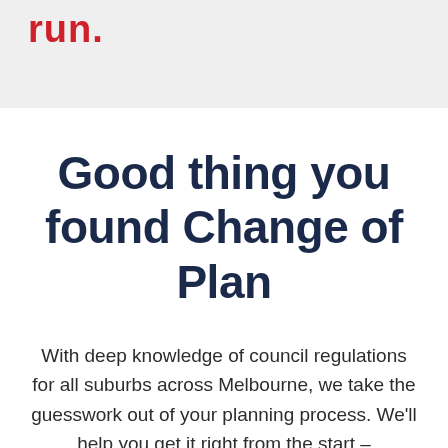run.
Good thing you found Change of Plan
With deep knowledge of council regulations for all suburbs across Melbourne, we take the guesswork out of your planning process. We'll help you get it right from the start –